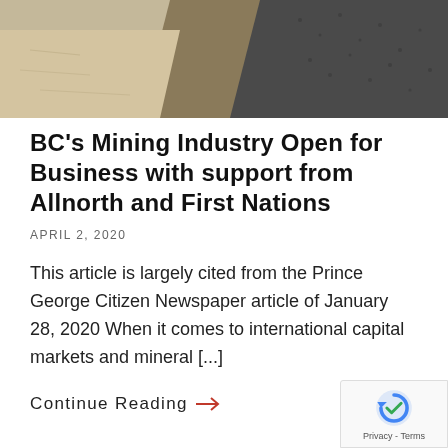[Figure (photo): Aerial or close-up photograph of mining terrain showing layers of sandy and dark gravel/ore material]
BC's Mining Industry Open for Business with support from Allnorth and First Nations
APRIL 2, 2020
This article is largely cited from the Prince George Citizen Newspaper article of January 28, 2020 When it comes to international capital markets and mineral [...]
Continue Reading →